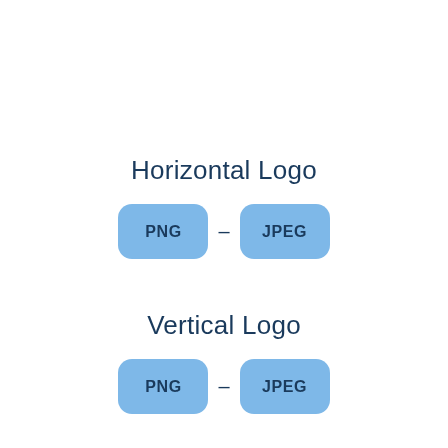Horizontal Logo
[Figure (infographic): Two rounded rectangle buttons labeled PNG and JPEG with a dash between them, for Horizontal Logo download options]
Vertical Logo
[Figure (infographic): Two rounded rectangle buttons labeled PNG and JPEG with a dash between them, for Vertical Logo download options]